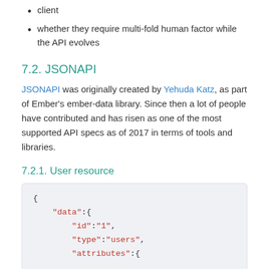client
whether they require multi-fold human factor while the API evolves
7.2. JSONAPI
JSONAPI was originally created by Yehuda Katz, as part of Ember's ember-data library. Since then a lot of people have contributed and has risen as one of the most supported API specs as of 2017 in terms of tools and libraries.
7.2.1. User resource
{
    "data":{
        "id":"1",
        "type":"users",
        "attributes":{